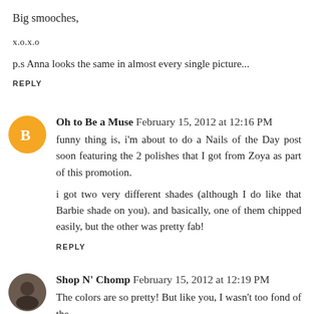Big smooches,
x.o.x.o
p.s Anna looks the same in almost every single picture...
REPLY
Oh to Be a Muse  February 15, 2012 at 12:16 PM
funny thing is, i'm about to do a Nails of the Day post soon featuring the 2 polishes that I got from Zoya as part of this promotion.

i got two very different shades (although I do like that Barbie shade on you). and basically, one of them chipped easily, but the other was pretty fab!
REPLY
Shop N' Chomp  February 15, 2012 at 12:19 PM
The colors are so pretty! But like you, I wasn't too fond of the